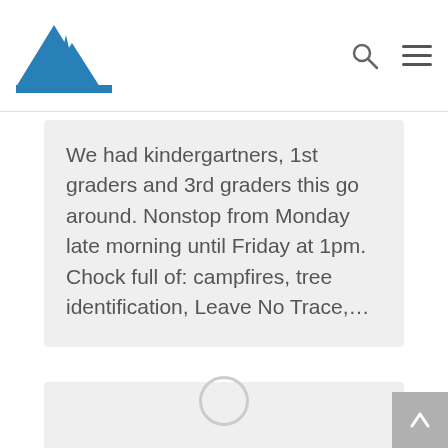Navigation bar with mountain/tree logo, search icon, and menu icon
We had kindergartners, 1st graders and 3rd graders this go around. Nonstop from Monday late morning until Friday at 1pm. Chock full of: campfires, tree identification, Leave No Trace,…
[Figure (photo): Gray placeholder card for an image, with a loading spinner circle visible at the bottom center]